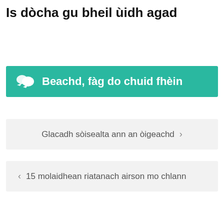Is dòcha gu bheil ùidh agad
Beachd, fàg do chuid fhèin
Glacadh sòisealta ann an òigeachd
15 molaidhean riatanach airson mo chlann